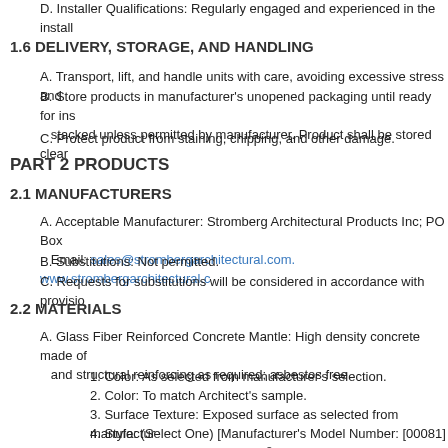D. Installer Qualifications: Regularly engaged and experienced in the install
1.6 DELIVERY, STORAGE, AND HANDLING
A. Transport, lift, and handle units with care, avoiding excessive stress and
B. Store products in manufacturer’s unopened packaging until ready for ins stacked unless permitted by manufacturer. Product shall be stored clear
C. Protect product from staining, chipping, and other damage.
PART 2 PRODUCTS
2.1 MANUFACTURERS
A. Acceptable Manufacturer: Stromberg Architectural Products Inc; PO Box Email: sales@strombergarchitectural.com. www.strombergarchitectural.c
B. Substitutions: Not permitted.
C. Requests for substitutions will be considered in accordance with provisio
2.2 MATERIALS
A. Glass Fiber Reinforced Concrete Mantle: High density concrete made of and structural reinforcing as required; asbestos free.
1. Color: As selected from manufacturer's selection.
2. Color: To match Architect's sample.
3. Surface Texture: Exposed surface as selected from manufactur
4. Style: (Select One) [Manufacturer's Model Number: [00081] [00
5. Density: 110 pcf (2243 kg/m³)